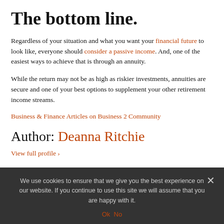The bottom line.
Regardless of your situation and what you want your financial future to look like, everyone should consider a passive income. And, one of the easiest ways to achieve that is through an annuity.
While the return may not be as high as riskier investments, annuities are secure and one of your best options to supplement your other retirement income streams.
Business & Finance Articles on Business 2 Community
Author: Deanna Ritchie
View full profile ›
We use cookies to ensure that we give you the best experience on our website. If you continue to use this site we will assume that you are happy with it. Ok  No